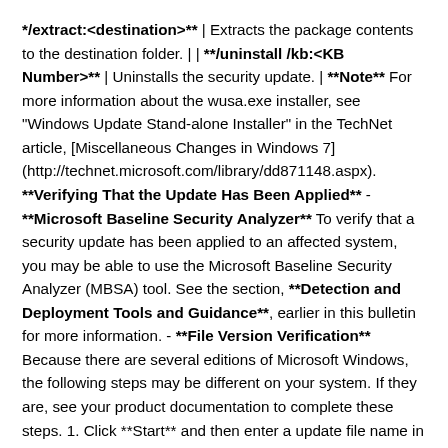**/extract:<destination>** | Extracts the package contents to the destination folder. | | **/uninstall /kb:<KB Number>** | Uninstalls the security update. | **Note** For more information about the wusa.exe installer, see "Windows Update Stand-alone Installer" in the TechNet article, [Miscellaneous Changes in Windows 7](http://technet.microsoft.com/library/dd871148.aspx). **Verifying That the Update Has Been Applied** - **Microsoft Baseline Security Analyzer** To verify that a security update has been applied to an affected system, you may be able to use the Microsoft Baseline Security Analyzer (MBSA) tool. See the section, **Detection and Deployment Tools and Guidance**, earlier in this bulletin for more information. - **File Version Verification** Because there are several editions of Microsoft Windows, the following steps may be different on your system. If they are, see your product documentation to complete these steps. 1. Click **Start** and then enter a update file name in the **Start**